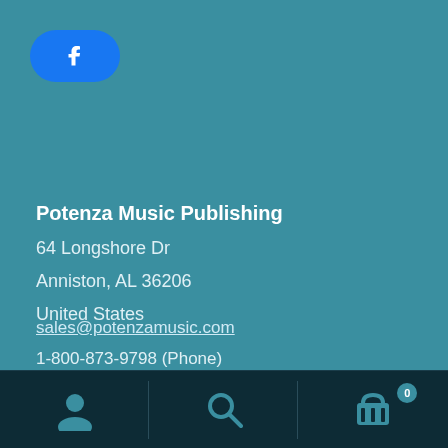[Figure (logo): Facebook logo button — rounded blue pill shape with white Facebook 'f' icon]
Potenza Music Publishing
64 Longshore Dr
Anniston, AL 36206
United States
sales@potenzamusic.com
1-800-873-9798 (Phone)
1-770-749-9996 (Fax)
[Figure (infographic): Bottom navigation bar with three icons: user/person icon, search/magnifying glass icon, shopping cart icon with badge showing '0']